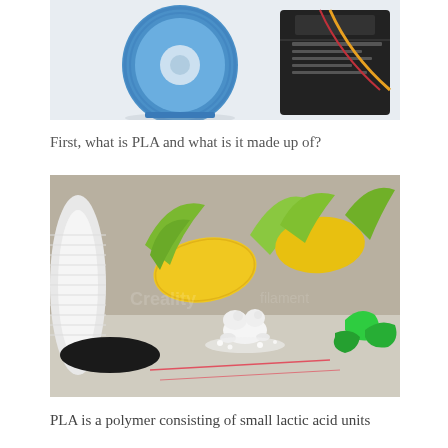[Figure (photo): Photo of a blue spool of PLA filament next to a black box packaging with text on it, against a white background.]
First, what is PLA and what is it made up of?
[Figure (photo): Photo showing corn cobs, a white spool of filament, small white 3D printed figurines, green 3D printed pieces, and white powder on a surface — illustrating PLA bioplastic origins.]
PLA is a polymer consisting of small lactic acid units